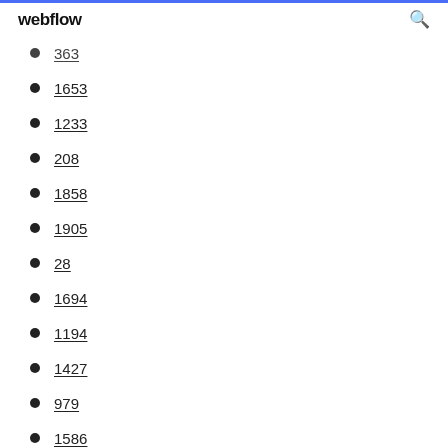webflow
363
1653
1233
208
1858
1905
28
1694
1194
1427
979
1586